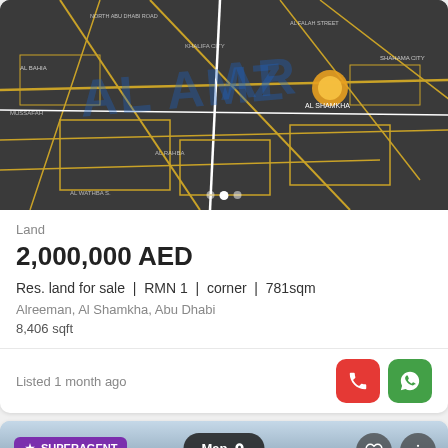[Figure (map): Dark satellite/street map showing Al Mamzar district with golden road outlines and street labels. A highlighted yellow circular marker on Al Shamkha area. Pagination dots visible at bottom (3 dots, second active).]
Land
2,000,000 AED
Res. land for sale | RMN 1 | corner | 781sqm
Alreeman, Al Shamkha, Abu Dhabi
8,406 sqft
Listed 1 month ago
[Figure (screenshot): Partial view of second property listing card showing SUPERAGENT badge, Map button with location pin icon, heart/favourite button, and more-options button over a sky/landscape background image.]